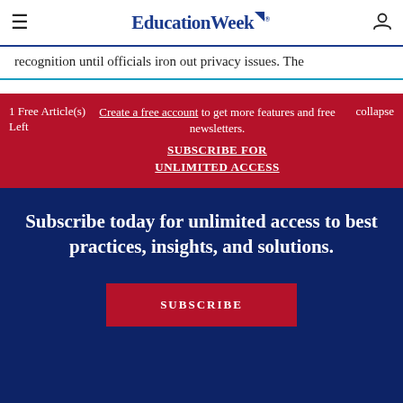EducationWeek
recognition until officials iron out privacy issues. The
1 Free Article(s) Left
Create a free account to get more features and free newsletters.
SUBSCRIBE FOR UNLIMITED ACCESS
collapse
Subscribe today for unlimited access to best practices, insights, and solutions.
SUBSCRIBE